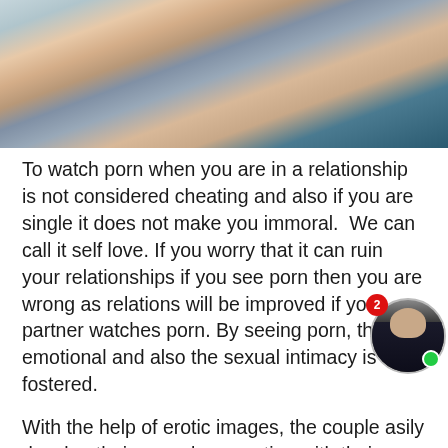[Figure (photo): Photo of two people sitting close together, hands intertwined, one wearing a denim jacket, outdoors with green background]
To watch porn when you are in a relationship is not considered cheating and also if you are single it does not make you immoral.  We can call it self love. If you worry that it can ruin your relationships if you see porn then you are wrong as relations will be improved if your partner watches porn. By seeing porn, the emotional and also the sexual intimacy is fostered.
With the help of erotic images, the couple asily develop their sexual connection with their partners.